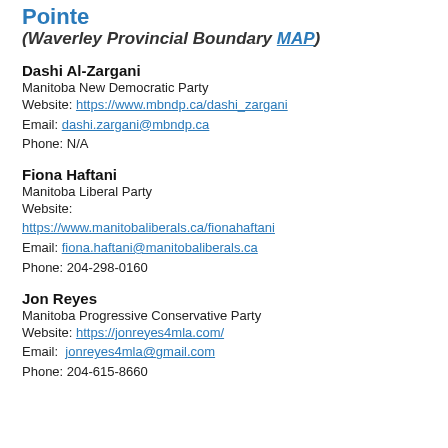Pointe (Waverley Provincial Boundary MAP)
Dashi Al-Zargani
Manitoba New Democratic Party
Website: https://www.mbndp.ca/dashi_zargani
Email: dashi.zargani@mbndp.ca
Phone: N/A
Fiona Haftani
Manitoba Liberal Party
Website: https://www.manitobaliberals.ca/fionahaftani
Email: fiona.haftani@manitobaliberals.ca
Phone: 204-298-0160
Jon Reyes
Manitoba Progressive Conservative Party
Website: https://jonreyes4mla.com/
Email: jonreyes4mla@gmail.com
Phone: 204-615-8660